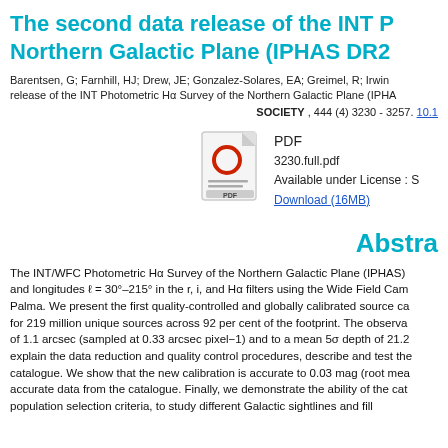The second data release of the INT Photometric Hα Survey of the Northern Galactic Plane (IPHAS DR2)
Barentsen, G; Farnhill, HJ; Drew, JE; Gonzalez-Solares, EA; Greimel, R; Irwin... release of the INT Photometric Hα Survey of the Northern Galactic Plane (IPHAS...
SOCIETY , 444 (4) 3230 - 3257. 10.1...
[Figure (other): PDF file icon showing a red circle O with PDF label below, representing a downloadable PDF file]
PDF
3230.full.pdf
Available under License : S...
Download (16MB)
Abstract
The INT/WFC Photometric Hα Survey of the Northern Galactic Plane (IPHAS) and longitudes ℓ = 30°–215° in the r, i, and Hα filters using the Wide Field Cam... Palma. We present the first quality-controlled and globally calibrated source ca... for 219 million unique sources across 92 per cent of the footprint. The observa... of 1.1 arcsec (sampled at 0.33 arcsec pixel−1) and to a mean 5σ depth of 21.2... explain the data reduction and quality control procedures, describe and test the... catalogue. We show that the new calibration is accurate to 0.03 mag (root mea... accurate data from the catalogue. Finally, we demonstrate the ability of the cat... population selection criteria, to study different Galactic sightlines and fill...